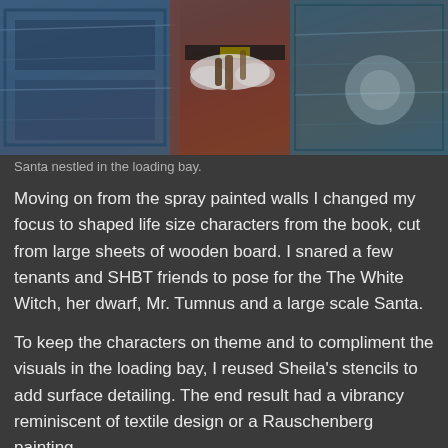[Figure (photo): Photo of a Santa figure nestled in a loading bay, surrounded by blue spray-painted walls and floral decorations]
Santa nestled in the loading bay.
Moving on from the spray painted walls I changed my focus to shaped life size characters from the book, cut from large sheets of wooden board. I snared a few tenants and SHBT friends to pose for the The White Witch, her dwarf, Mr. Tumnus and a large scale Santa.
To keep the characters on theme and to compliment the visuals in the loading bay, I reused Sheila’s stencils to add surface detailing. The end result had a vibrancy reminiscent of textile design or a Rauschenberg painting.